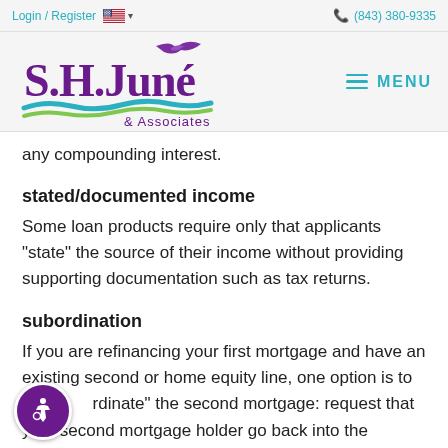Login / Register  🇺🇸 ▾    ☎ (843) 380-9335
[Figure (logo): S.H. June & Associates logo with bird and wave graphic in purple, teal and green]
any compounding interest.
stated/documented income
Some loan products require only that applicants "state" the source of their income without providing supporting documentation such as tax returns.
subordination
If you are refinancing your first mortgage and have an existing second or home equity line, one option is to "subordinate" the second mortgage: request that your second mortgage holder go back into the second lien